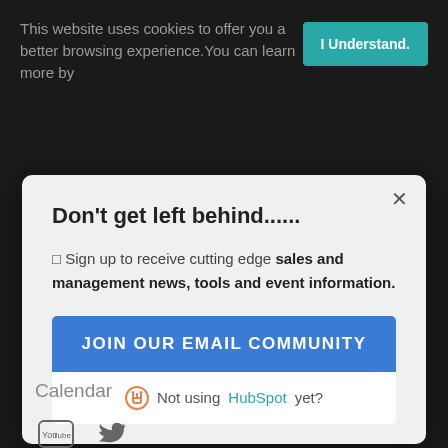This website uses cookies to offer you a better browsing experience. You can learn more by
I Understand.
Don't get left behind......
✓ Sign up to receive cutting edge sales and management news, tools and event information.
JOIN OUR EMAIL COMMUNITY
Not using HubSpot yet?
Calendar
Sandler
NorthStar Performance Partners, LLC